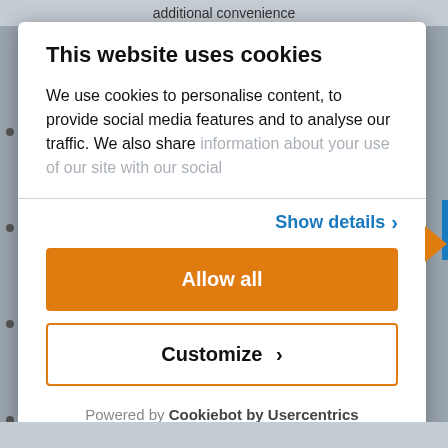additional convenience
This website uses cookies
We use cookies to personalise content, to provide social media features and to analyse our traffic. We also share information about your use of our site with our social
Show details >
Allow all
Customize >
Powered by Cookiebot by Usercentrics